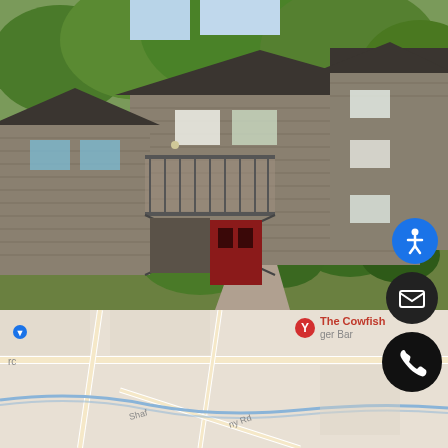[Figure (photo): Exterior photo of a two-story townhouse or apartment building with gray/taupe horizontal siding, dark roof, a balcony with metal railings on the upper floor, a red front door at ground level, surrounded by green shrubs and trees in the background.]
[Figure (screenshot): Google Maps screenshot showing a street map view near 'The Cowfish Sushi Burger Bar' location. Map/Satellite toggle buttons visible at bottom left. Accessibility, email, and phone action buttons overlaid on right side. Expand button at lower right.]